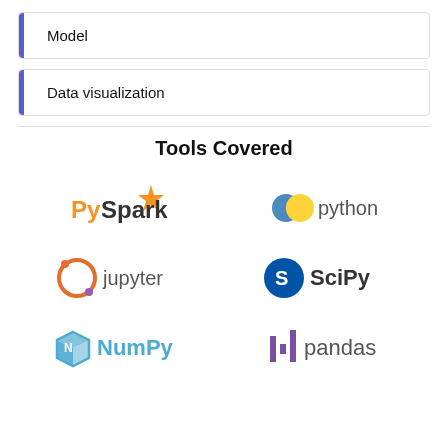Model
Data visualization
Tools Covered
[Figure (logo): PySpark logo]
[Figure (logo): Python logo]
[Figure (logo): Jupyter logo]
[Figure (logo): SciPy logo]
[Figure (logo): NumPy logo]
[Figure (logo): pandas logo]